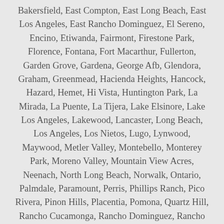Bakersfield, East Compton, East Long Beach, East Los Angeles, East Rancho Dominguez, El Sereno, Encino, Etiwanda, Fairmont, Firestone Park, Florence, Fontana, Fort Macarthur, Fullerton, Garden Grove, Gardena, George Afb, Glendora, Graham, Greenmead, Hacienda Heights, Hancock, Hazard, Hemet, Hi Vista, Huntington Park, La Mirada, La Puente, La Tijera, Lake Elsinore, Lake Los Angeles, Lakewood, Lancaster, Long Beach, Los Angeles, Los Nietos, Lugo, Lynwood, Maywood, Metler Valley, Montebello, Monterey Park, Moreno Valley, Mountain View Acres, Neenach, North Long Beach, Norwalk, Ontario, Palmdale, Paramount, Perris, Phillips Ranch, Pico Rivera, Pinon Hills, Placentia, Pomona, Quartz Hill, Rancho Cucamonga, Rancho Dominguez, Rancho Palos Verdes, Redlands, Reseda, Rialto, Riverside, Roosevelt Corner, Rosewood, San Bernardino, San Fernando, San Pedro, Santa Ana, Santa Fe Springs,